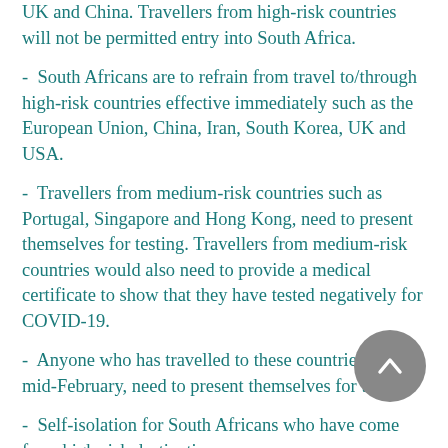UK and China. Travellers from high-risk countries will not be permitted entry into South Africa.
- South Africans are to refrain from travel to/through high-risk countries effective immediately such as the European Union, China, Iran, South Korea, UK and USA.
- Travellers from medium-risk countries such as Portugal, Singapore and Hong Kong, need to present themselves for testing. Travellers from medium-risk countries would also need to provide a medical certificate to show that they have tested negatively for COVID-19.
- Anyone who has travelled to these countries from mid-February, need to present themselves for testing.
- Self-isolation for South Africans who have come from high-risk destinations.
- Intensified screening at all ports of entry.